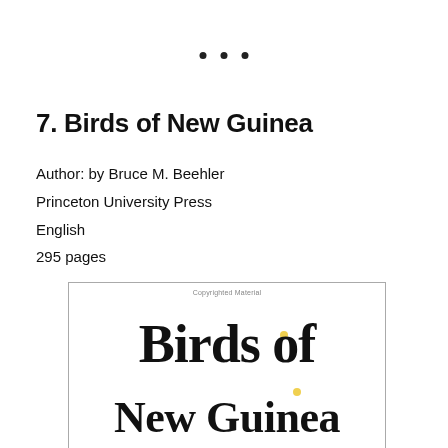• • •
7. Birds of New Guinea
Author: by Bruce M. Beehler
Princeton University Press
English
295 pages
[Figure (photo): Book cover of 'Birds of New Guinea' showing the title in large serif font with 'Copyrighted Material' at top and author line 'BY BRUCE M. BEEHLER, THANE K. PRATT' at the bottom, on a white background with a thin gray border.]